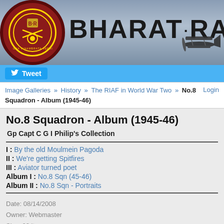[Figure (screenshot): Bharat Raksha website header banner with logo and title text BHARAT RAKSHA, with a vintage biplane silhouette on the right]
Tweet
Image Galleries » History » The RIAF in World War Two » No.8 Squadron - Album (1945-46) Login
No.8 Squadron - Album (1945-46)
Gp Capt C G I Philip's Collection
I : By the old Moulmein Pagoda
II : We're getting Spitfires
III : Aviator turned poet
Album I : No.8 Sqn (45-46)
Album II : No.8 Sqn - Portraits
Date: 08/14/2008
Owner: Webmaster
Size: 23 items